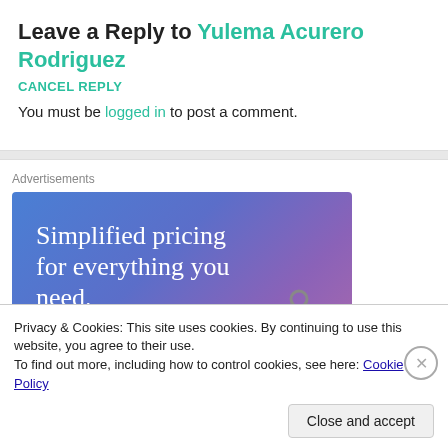Leave a Reply to Yulema Acurero Rodriguez CANCEL REPLY
You must be logged in to post a comment.
Advertisements
[Figure (illustration): Advertisement banner with gradient background (blue to purple). Text reads 'Simplified pricing for everything you need.' with a pink 'Build Your Website' button and a price tag graphic on the right.]
Privacy & Cookies: This site uses cookies. By continuing to use this website, you agree to their use.
To find out more, including how to control cookies, see here: Cookie Policy